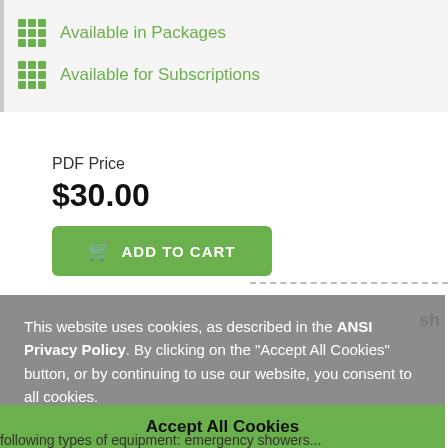Available in Packages
Available for Subscriptions
PDF Price
$30.00
ADD TO CART
This website uses cookies, as described in the ANSI Privacy Policy. By clicking on the "Accept All Cookies" button, or by continuing to use our website, you consent to all cookies.
Accept All Cookies